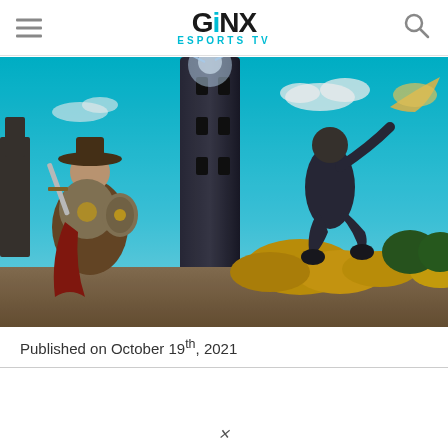GINX ESPORTS TV
[Figure (screenshot): Hero image from a fantasy/RPG video game showing a warrior with a hat, sword, and shield on the left, a character jumping on the right, with a tall dark tower in the center background, golden autumn bushes and blue sky with clouds.]
Published on October 19th, 2021